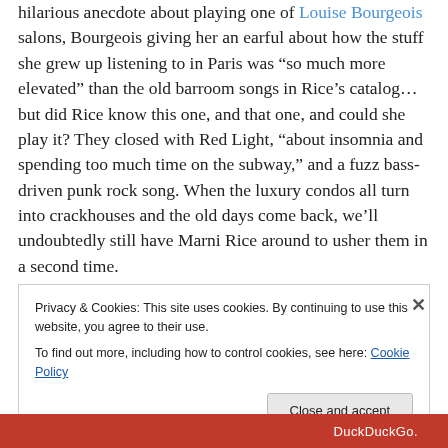hilarious anecdote about playing one of Louise Bourgeois salons, Bourgeois giving her an earful about how the stuff she grew up listening to in Paris was “so much more elevated” than the old barroom songs in Rice’s catalog… but did Rice know this one, and that one, and could she play it? They closed with Red Light, “about insomnia and spending too much time on the subway,” and a fuzz bass-driven punk rock song. When the luxury condos all turn into crackhouses and the old days come back, we’ll undoubtedly still have Marni Rice around to usher them in a second time.
Privacy & Cookies: This site uses cookies. By continuing to use this website, you agree to their use.
To find out more, including how to control cookies, see here: Cookie Policy
Close and accept
DuckDuckGo.